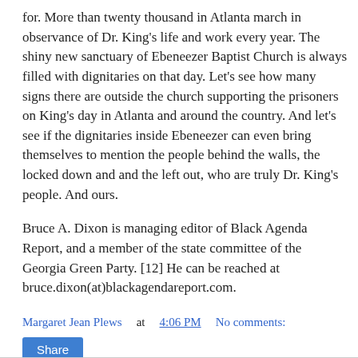for. More than twenty thousand in Atlanta march in observance of Dr. King's life and work every year. The shiny new sanctuary of Ebeneezer Baptist Church is always filled with dignitaries on that day. Let's see how many signs there are outside the church supporting the prisoners on King's day in Atlanta and around the country. And let's see if the dignitaries inside Ebeneezer can even bring themselves to mention the people behind the walls, the locked down and and the left out, who are truly Dr. King's people. And ours.
Bruce A. Dixon is managing editor of Black Agenda Report, and a member of the state committee of the Georgia Green Party. [12] He can be reached at bruce.dixon(at)blackagendareport.com.
Margaret Jean Plews at 4:06 PM    No comments:
Share